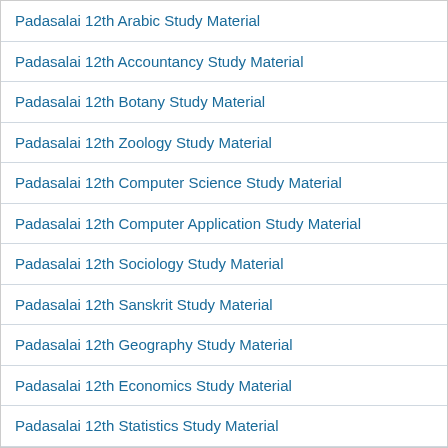Padasalai 12th Arabic Study Material
Padasalai 12th Accountancy Study Material
Padasalai 12th Botany Study Material
Padasalai 12th Zoology Study Material
Padasalai 12th Computer Science Study Material
Padasalai 12th Computer Application Study Material
Padasalai 12th Sociology Study Material
Padasalai 12th Sanskrit Study Material
Padasalai 12th Geography Study Material
Padasalai 12th Economics Study Material
Padasalai 12th Statistics Study Material
Padasalai 12th Psychology Study Material
Padasalai 12th Political Science Study Material
Padasalai 12th Business Studies Study Material
Padasalai 12th Home Science Study Material